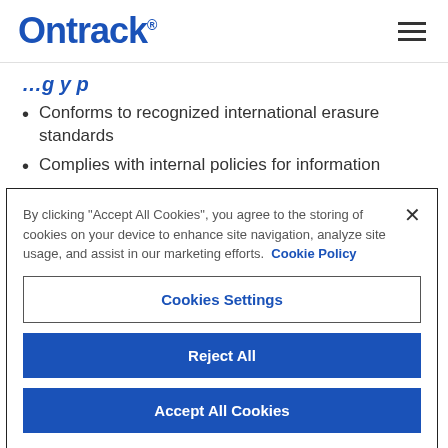Ontrack
…g y p
Conforms to recognized international erasure standards
Complies with internal policies for information
By clicking "Accept All Cookies", you agree to the storing of cookies on your device to enhance site navigation, analyze site usage, and assist in our marketing efforts. Cookie Policy
Cookies Settings
Reject All
Accept All Cookies